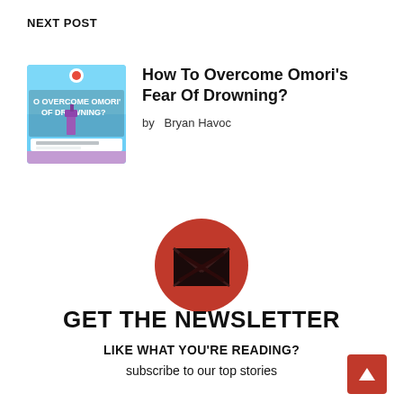NEXT POST
[Figure (illustration): Thumbnail image for blog post about Omori's Fear of Drowning — light blue background with text overlay reading 'O OVERCOME OMORI OF DROWNING?' and a small graphic element]
How To Overcome Omori's Fear Of Drowning?
by  Bryan Havoc
[Figure (illustration): Red circle with a dark envelope/email icon in the center]
GET THE NEWSLETTER
LIKE WHAT YOU'RE READING?
subscribe to our top stories